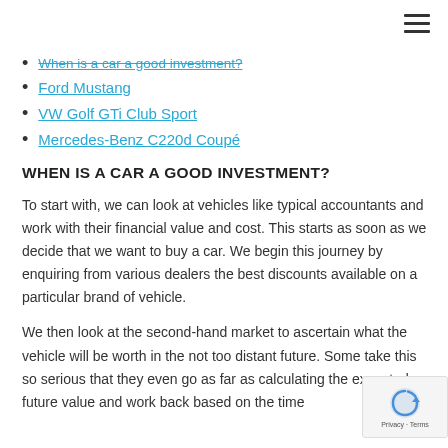When is a car a good investment?
Ford Mustang
VW Golf GTi Club Sport
Mercedes-Benz C220d Coupé
WHEN IS A CAR A GOOD INVESTMENT?
To start with, we can look at vehicles like typical accountants and work with their financial value and cost. This starts as soon as we decide that we want to buy a car. We begin this journey by enquiring from various dealers the best discounts available on a particular brand of vehicle.
We then look at the second-hand market to ascertain what the vehicle will be worth in the not too distant future. Some take this so serious that they even go as far as calculating the expected future value and work back based on the time